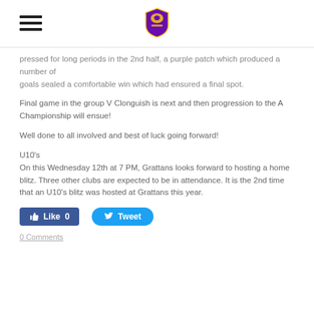[Hamburger menu] [Club shield logo]
pressed for long periods in the 2nd half, a purple patch which produced a number of goals sealed a comfortable win which had ensured a final spot.
Final game in the group V Clonguish is next and then progression to the A Championship will ensue!
Well done to all involved and best of luck going forward!
U10's
On this Wednesday 12th at 7 PM, Grattans looks forward to hosting a home blitz. Three other clubs are expected to be in attendance. It is the 2nd time that an U10's blitz was hosted at Grattans this year.
[Figure (other): Facebook Like button (blue, rounded rectangle) showing 'Like 0' and Twitter Tweet button (blue, pill shape) showing 'Tweet']
0 Comments